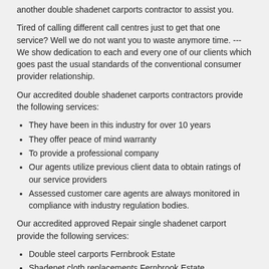another double shadenet carports contractor to assist you.
Tired of calling different call centres just to get that one service? Well we do not want you to waste anymore time. ---We show dedication to each and every one of our clients which goes past the usual standards of the conventional consumer provider relationship.
Our accredited double shadenet carports contractors provide the following services:
They have been in this industry for over 10 years
They offer peace of mind warranty
To provide a professional company
Our agents utilize previous client data to obtain ratings of our service providers
Assessed customer care agents are always monitored in compliance with industry regulation bodies.
Our accredited approved Repair single shadenet carport provide the following services:
Double steel carports Fernbrook Estate
Shadenet cloth replacements Fernbrook Estate
Install new metal carport Fernbrook Estate
New shadenet carports Fernbrook Estate
Carport installations Fernbrook Estate
Repair single shadenet carport Fernbrook Estate
Carport repairs Fernbrook Estate